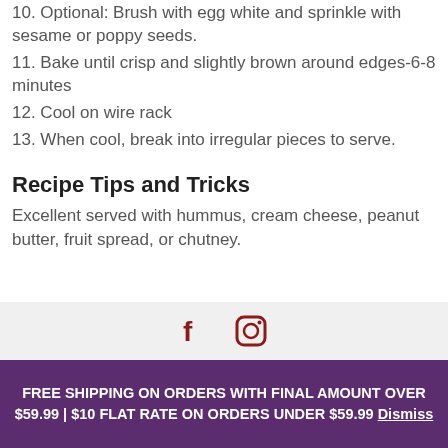10. Optional: Brush with egg white and sprinkle with sesame or poppy seeds.
11. Bake until crisp and slightly brown around edges-6-8 minutes
12. Cool on wire rack
13. When cool, break into irregular pieces to serve.
Recipe Tips and Tricks
Excellent served with hummus, cream cheese, peanut butter, fruit spread, or chutney.
FREE SHIPPING ON ORDERS WITH FINAL AMOUNT OVER $59.99 | $10 FLAT RATE ON ORDERS UNDER $59.99 Dismiss